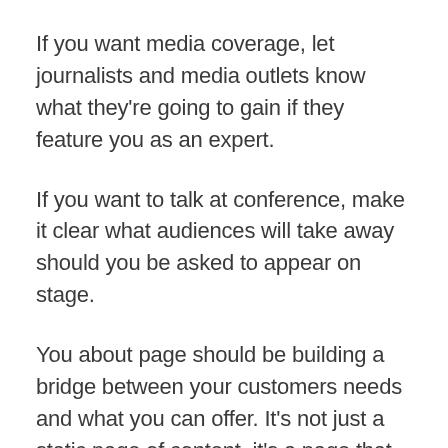If you want media coverage, let journalists and media outlets know what they're going to gain if they feature you as an expert.
If you want to talk at conference, make it clear what audiences will take away should you be asked to appear on stage.
You about page should be building a bridge between your customers needs and what you can offer. It's not just a static page of content, it's a page that encourages momentum and moves your ideal target market closer to doing business with you.
Want me to help you